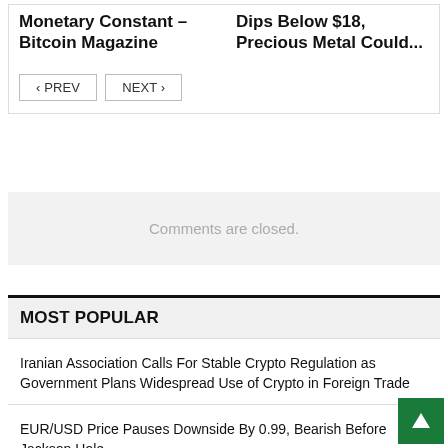Monetary Constant – Bitcoin Magazine
Dips Below $18, Precious Metal Could...
< PREV
NEXT >
Comments are closed.
MOST POPULAR
Iranian Association Calls For Stable Crypto Regulation as Government Plans Widespread Use of Crypto in Foreign Trade
EUR/USD Price Pauses Downside By 0.99, Bearish Before Jackson Hole
Labour market remains healthy – UOB